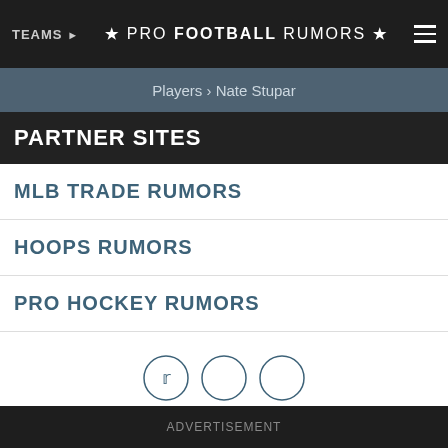TEAMS ★ PRO FOOTBALL RUMORS ★
Players › Nate Stupar
PARTNER SITES
MLB TRADE RUMORS
HOOPS RUMORS
PRO HOCKEY RUMORS
[Figure (other): Social media icons: Twitter bird icon and two empty circle icons]
Back to top
Mobile   Desktop
ADVERTISEMENT